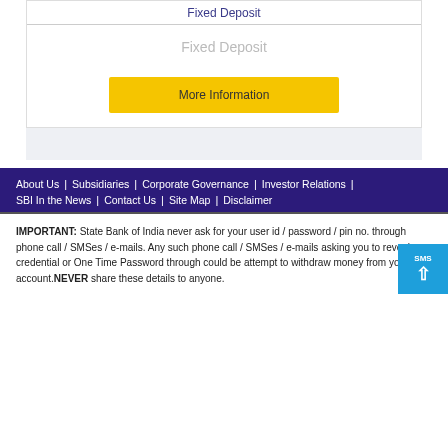Fixed Deposit
Fixed Deposit
More Information
About Us | Subsidiaries | Corporate Governance | Investor Relations | SBI In the News | Contact Us | Site Map | Disclaimer
IMPORTANT: State Bank of India never ask for your user id / password / pin no. through phone call / SMSes / e-mails. Any such phone call / SMSes / e-mails asking you to reveal credential or One Time Password through could be attempt to withdraw money from your account.NEVER share these details to anyone.